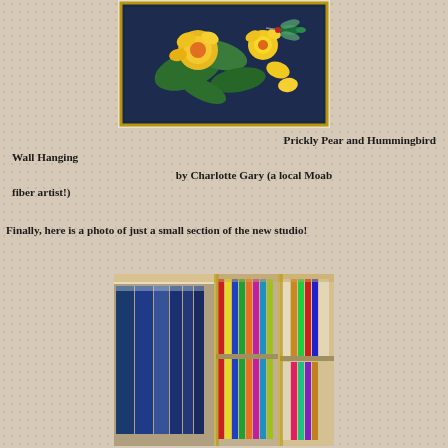[Figure (photo): A quilt wall hanging showing yellow/orange prickly pear flowers and a hummingbird on a dark navy blue background with gold border trim.]
Prickly Pear and Hummingbird Wall Hanging by Charlotte Gary (a local Moab fiber artist!)
Finally, here is a photo of just a small section of the new studio!
[Figure (photo): Interior of a fabric studio showing shelves of rolled and stacked fabric bolts in various colors and patterns.]